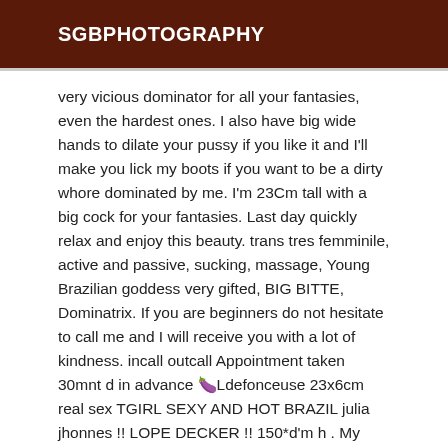SGBPHOTOGRAPHY
very vicious dominator for all your fantasies, even the hardest ones. I also have big wide hands to dilate your pussy if you like it and I'll make you lick my boots if you want to be a dirty whore dominated by me. I'm 23Cm tall with a big cock for your fantasies. Last day quickly relax and enjoy this beauty. trans tres femminile, active and passive, sucking, massage, Young Brazilian goddess very gifted, BIG BITTE, Dominatrix. If you are beginners do not hesitate to call me and I will receive you with a lot of kindness. incall outcall Appointment taken 30mnt d in advance 🍆Ldefonceuse 23x6cm real sex TGIRL SEXY AND HOT BRAZIL julia jhonnes !! LOPE DECKER !! 150*d'm h . My rates are not negotiable.)....Ldefonceuse 23x6cm real sex..........jolie trans brazilian trans very refined active PARTY🎉 POPPERS🍾 ACCESSOIRES🎀 EVENING PRIVÉE🥂 CRAZY PRIVATE PARTY🎊 !!HARD!! 🔥 🍑🍑🍑🍑🍑Disponible mtn on city. Ldefonceuse 23x6cm real sex...!!totalement free..!!Attenzione...